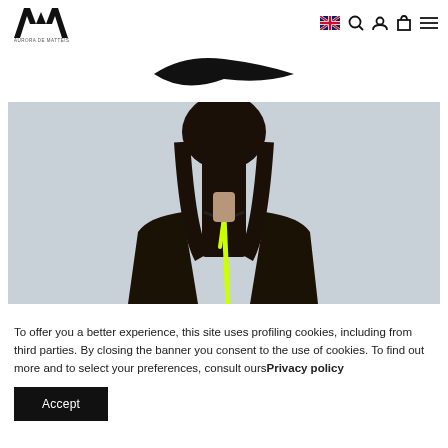[Figure (logo): Aurora de Matteis brand logo — stylized ADM monogram with brand name below]
[Figure (screenshot): Navigation bar icons: UK flag for language, search, account, cart, and menu icons]
[Figure (photo): Partial product image at top — dark clothing item on white background]
[Figure (photo): Fashion photo: person seen from behind with dark straight hair, wearing a black jacket with neon yellow zipper, against light grey background]
To offer you a better experience, this site uses profiling cookies, including from third parties. By closing the banner you consent to the use of cookies. To find out more and to select your preferences, consult oursPrivacy policy
Accept